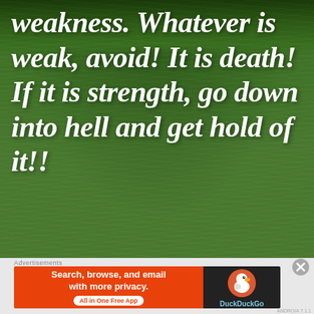[Figure (photo): Green lawn/garden background with shrubs and plants visible at the top, serving as backdrop for a motivational quote]
weakness. Whatever is weak, avoid! It is death! If it is strength, go down into hell and get hold of it!!
The quotes by Swami Vivekanand ji
Advertisements
[Figure (screenshot): DuckDuckGo advertisement banner: orange left side with text 'Search, browse, and email with more privacy. All in One Free App', dark right side with DuckDuckGo duck logo]